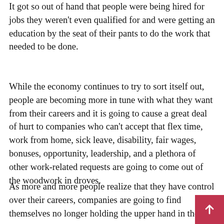It got so out of hand that people were being hired for jobs they weren't even qualified for and were getting an education by the seat of their pants to do the work that needed to be done.
While the economy continues to try to sort itself out, people are becoming more in tune with what they want from their careers and it is going to cause a great deal of hurt to companies who can't accept that flex time, work from home, sick leave, disability, fair wages, bonuses, opportunity, leadership, and a plethora of other work-related requests are going to come out of the woodwork in droves.
As more and more people realize that they have control over their careers, companies are going to find themselves no longer holding the upper hand in the